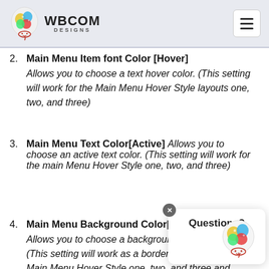WBCOM DESIGNS
2. Main Menu Item font Color [Hover] Allows you to choose a text hover color. (This setting will work for the Main Menu Hover Style layouts one, two, and three)
3. Main Menu Text Color[Active] Allows you to choose an active text color. (This setting will work for the main Menu Hover Style one, two, and three)
4. Main Menu Background Color[Hover] Allows you to choose a background hover color. (This setting will work as a border color for the Main Menu Hover Style one, two, and three and as a